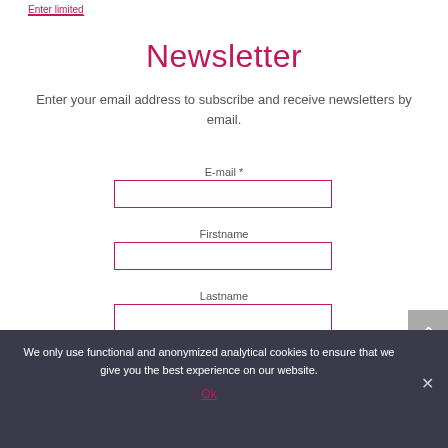Enter limited
Newsletter
Enter your email address to subscribe and receive newsletters by email.
E-mail *
Firstname
Lastname
Submit
We only use functional and anonymized analytical cookies to ensure that we give you the best experience on our website.
Ok